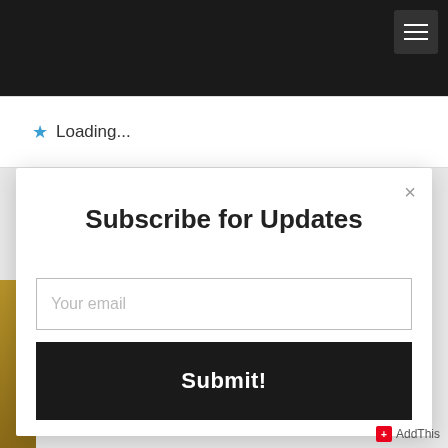[Figure (screenshot): Dark top navigation bar with hamburger menu icon in upper right corner]
★ Loading...
Subscribe for Updates
Your email
Submit!
AddThis